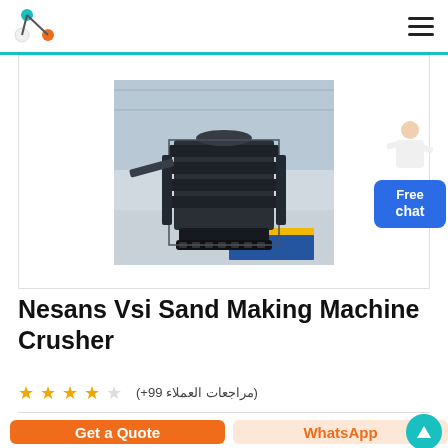Nesans Vsi Sand Making Machine Crusher - product listing page header with logo and navigation
[Figure (photo): Industrial sand making machine / VSI crusher photographed in a factory warehouse setting. The machine is large, dark/black colored with multiple horizontal layers, sitting on a factory floor with yellow and blue floor markings.]
Nesans Vsi Sand Making Machine Crusher
★★★★☆ (مراجعات العملاء 99+)
Get a Quote   WhatsApp